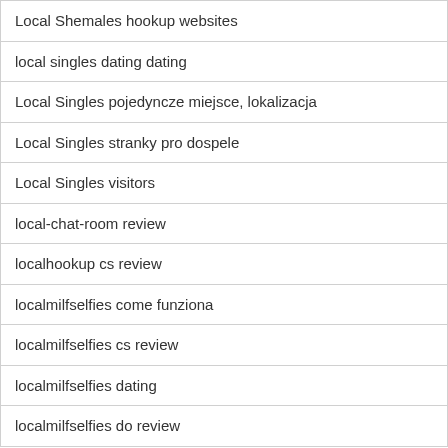| Local Shemales hookup websites |
| local singles dating dating |
| Local Singles pojedyncze miejsce, lokalizacja |
| Local Singles stranky pro dospele |
| Local Singles visitors |
| local-chat-room review |
| localhookup cs review |
| localmilfselfies come funziona |
| localmilfselfies cs review |
| localmilfselfies dating |
| localmilfselfies do review |